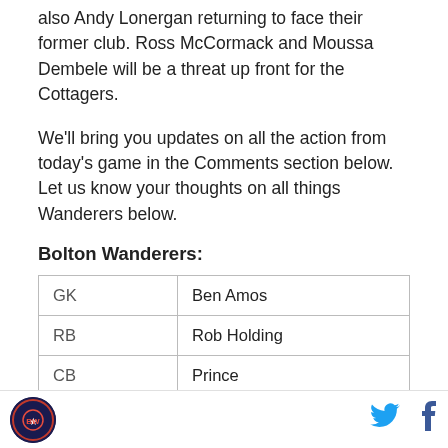also Andy Lonergan returning to face their former club. Ross McCormack and Moussa Dembele will be a threat up front for the Cottagers.
We'll bring you updates on all the action from today's game in the Comments section below. Let us know your thoughts on all things Wanderers below.
Bolton Wanderers:
| GK | Ben Amos |
| RB | Rob Holding |
| CB | Prince |
| CB | David Wheater |